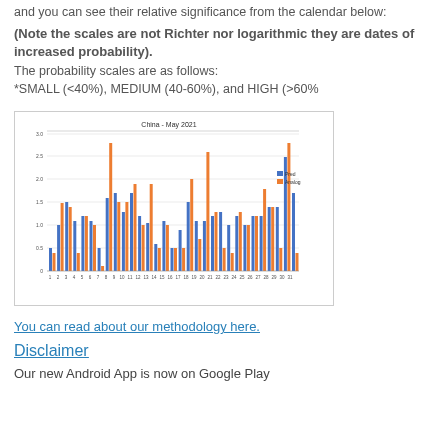and you can see their relative significance from the calendar below:
(Note the scales are not Richter nor logarithmic they are dates of increased probability).
The probability scales are as follows:
*SMALL (<40%), MEDIUM (40-60%), and HIGH (>60%
[Figure (bar-chart): Grouped bar chart showing two series (Pred in blue, Analog in orange) for each day in May 2021 for China. Values range from about 0.5 to 2.8.]
You can read about our methodology here.
Disclaimer
Our new Android App is now on Google Play